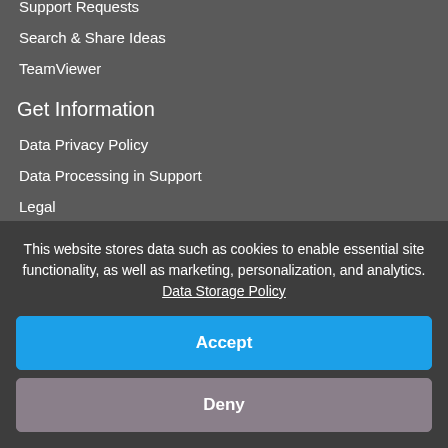Support Requests
Search & Share Ideas
TeamViewer
Get Information
Data Privacy Policy
Data Processing in Support
Legal
Disclaimer
Support Lifecycle Policy
This website stores data such as cookies to enable essential site functionality, as well as marketing, personalization, and analytics. Data Storage Policy
Accept
Deny